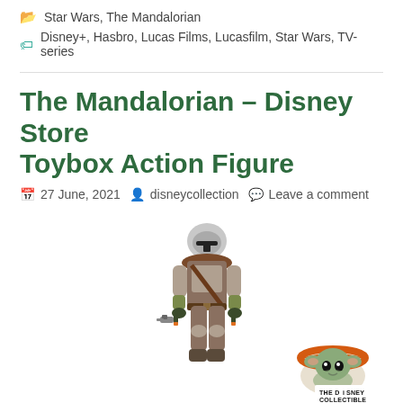Star Wars, The Mandalorian
Disney+, Hasbro, Lucas Films, Lucasfilm, Star Wars, TV-series
The Mandalorian – Disney Store Toybox Action Figure
27 June, 2021   disneycollection   Leave a comment
[Figure (photo): Product photo of The Mandalorian Disney Store Toybox action figure with the character in silver/brown armor holding a blaster, alongside a small Baby Yoda/Grogu figurine in a floating pod. Bottom right shows 'THE DiSNEY COLLECTIBLE' logo.]